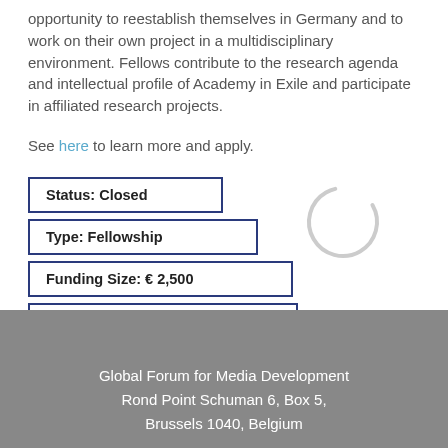opportunity to reestablish themselves in Germany and to work on their own project in a multidisciplinary environment. Fellows contribute to the research agenda and intellectual profile of Academy in Exile and participate in affiliated research projects.
See here to learn more and apply.
Status: Closed
Type: Fellowship
Funding Size: € 2,500
Deadline: 10/11/2021
[Figure (other): Circular loading spinner graphic, partially drawn arc in light gray]
Global Forum for Media Development
Rond Point Schuman 6, Box 5,
Brussels 1040, Belgium